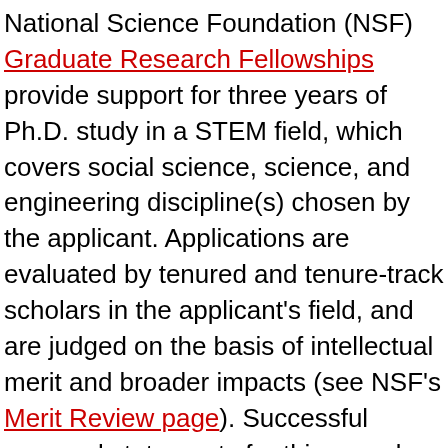National Science Foundation (NSF) Graduate Research Fellowships provide support for three years of Ph.D. study in a STEM field, which covers social science, science, and engineering discipline(s) chosen by the applicant. Applications are evaluated by tenured and tenure-track scholars in the applicant's field, and are judged on the basis of intellectual merit and broader impacts (see NSF's Merit Review page). Successful personal statements for this award often have a dual focus parallel to the review criteria: Part of the two-page personal statement demonstrates applicant's scholarly engagement with the academic discipline by describing their current or proposed degree program and research topic, the previous research and/or coursework which led them to choose that topic, and the ways in which the